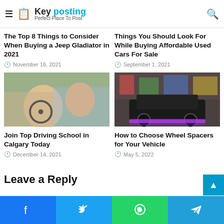Key posting - Perfect Place To Post
The Top 8 Things to Consider When Buying a Jeep Gladiator in 2021
November 16, 2021
Things You Should Look For While Buying Affordable Used Cars For Sale
September 1, 2021
[Figure (photo): Driving lesson: instructor and student in car]
[Figure (photo): Black modified Jeep with purple underglow lights against graffiti wall]
Join Top Driving School in Calgary Today
December 14, 2021
How to Choose Wheel Spacers for Your Vehicle
May 5, 2022
Leave a Reply
Facebook | Twitter | WhatsApp | Telegram